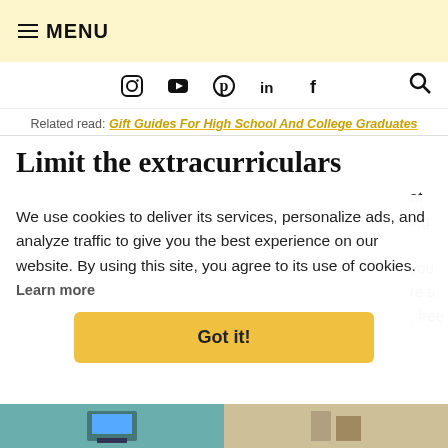≡ MENU
Related read: Gift Guides For High School And College Graduates
Limit the extracurriculars
We use cookies to deliver its services, personalize ads, and analyze traffic to give you the best experience on our website. By using this site, you agree to its use of cookies.
Learn more
Got it!
[Figure (photo): Bottom strip showing partial photos including what appears to be a computer monitor and other items]